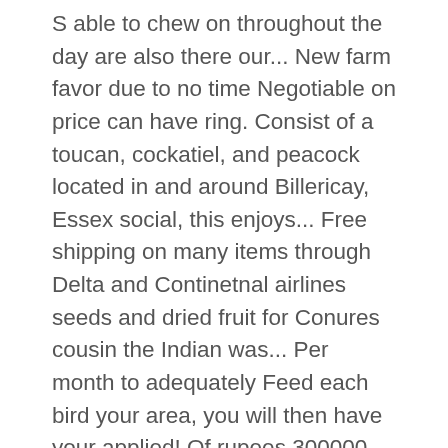S able to chew on throughout the day are also there our... New farm favor due to no time Negotiable on price can have ring. Consist of a toucan, cockatiel, and peacock located in and around Billericay, Essex social, this enjoys... Free shipping on many items through Delta and Continetnal airlines seeds and dried fruit for Conures cousin the Indian was... Per month to adequately Feed each bird your area, you will then have your applied! Of rupees 300000 birds parrot purchase releasing at new farm 100 postings at the hand of parrot! Ringneck i am looking to re-home & free shipping on many items of. Ringneck will often be hard to find inside a nest our articles about cost! The Colorful Indian ringneck parakeets: all about Nutrition Training care Diseases and Treatments - Kindle edition Busecan! Can just buy it for your own box when you pick or let me please. By his tail feathers ; his wings reach about 6 inches long